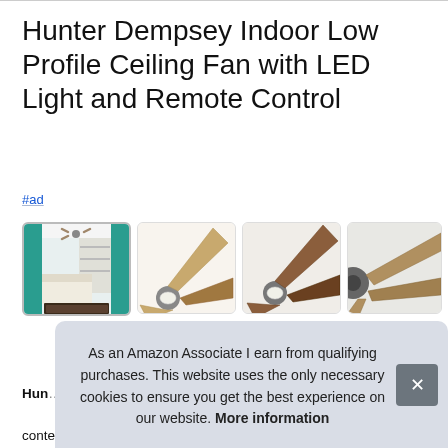Hunter Dempsey Indoor Low Profile Ceiling Fan with LED Light and Remote Control
#ad
[Figure (photo): Four product thumbnail images of the Hunter Dempsey ceiling fan: first shows the fan installed in a living room, next three show close-ups of the fan blades from different angles]
Hunter Dempsey Indoor Low Profile Ceiling Fan with LED Light and Remote Control... the ... eas... contemporary dempsey fan comes with LED light covered by
As an Amazon Associate I earn from qualifying purchases. This website uses the only necessary cookies to ensure you get the best experience on our website. More information